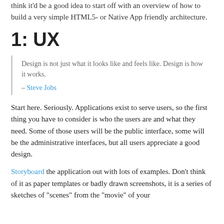think it'd be a good idea to start off with an overview of how to build a very simple HTML5- or Native App friendly architecture.
1: UX
Design is not just what it looks like and feels like. Design is how it works.

– Steve Jobs
Start here. Seriously. Applications exist to serve users, so the first thing you have to consider is who the users are and what they need. Some of those users will be the public interface, some will be the administrative interfaces, but all users appreciate a good design.
Storyboard the application out with lots of examples. Don't think of it as paper templates or badly drawn screenshots, it is a series of sketches of "scenes" from the "movie" of your